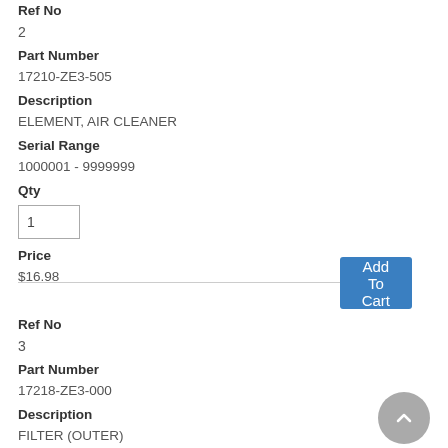Ref No
2
Part Number
17210-ZE3-505
Description
ELEMENT, AIR CLEANER
Serial Range
1000001 - 9999999
Qty
1
Price
$16.98
Add To Cart
Ref No
3
Part Number
17218-ZE3-000
Description
FILTER (OUTER)